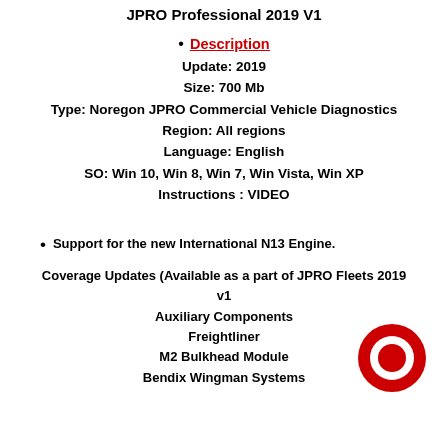JPRO Professional 2019 V1
Description
Update: 2019
Size: 700 Mb
Type: Noregon JPRO Commercial Vehicle Diagnostics
Region: All regions
Language: English
SO: Win 10, Win 8, Win 7, Win Vista, Win XP
Instructions : VIDEO
Support for the new International N13 Engine.
Coverage Updates (Available as a part of JPRO Fleets 2019 v1
Auxiliary Components
Freightliner
M2 Bulkhead Module
Bendix Wingman Systems